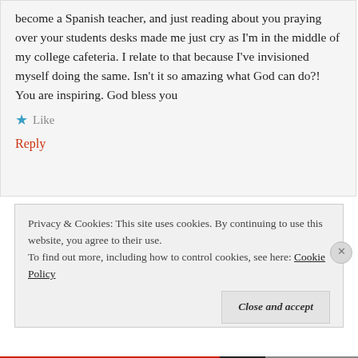become a Spanish teacher, and just reading about you praying over your students desks made me just cry as I'm in the middle of my college cafeteria. I relate to that because I've invisioned myself doing the same. Isn't it so amazing what God can do?! You are inspiring. God bless you
★ Like
Reply
Privacy & Cookies: This site uses cookies. By continuing to use this website, you agree to their use.
To find out more, including how to control cookies, see here: Cookie Policy
Close and accept